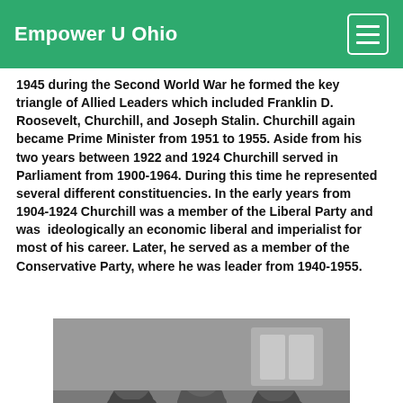Empower U Ohio
1945 during the Second World War he formed the key triangle of Allied Leaders which included Franklin D. Roosevelt, Churchill, and Joseph Stalin.  Churchill again became Prime Minister from 1951 to 1955.   Aside from his two years between 1922 and 1924 Churchill served in Parliament from 1900-1964.   During this time he represented several different constituencies.   In the early years from 1904-1924 Churchill was a member of the Liberal Party and was  ideologically an economic liberal and imperialist for most of his career.   Later, he served as a member of the Conservative Party, where he was leader from 1940-1955.
[Figure (photo): Black and white photograph of three seated men — Joseph Stalin (left), Franklin D. Roosevelt (center), and Winston Churchill (right) — likely at the Tehran Conference during World War II.]